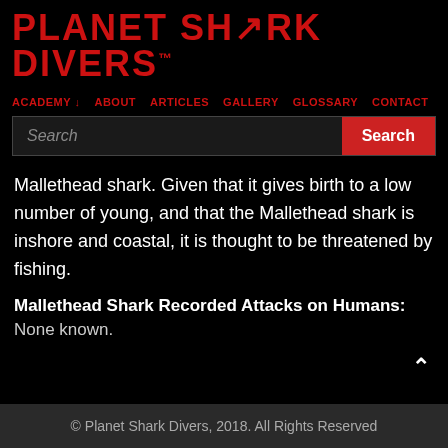[Figure (logo): Planet Shark Divers logo in red text on black background]
ACADEMY ↓   ABOUT   ARTICLES   GALLERY   GLOSSARY   CONTACT
Mallethead shark. Given that it gives birth to a low number of young, and that the Mallethead shark is inshore and coastal, it is thought to be threatened by fishing.
Mallethead Shark Recorded Attacks on Humans:
None known.
© Planet Shark Divers, 2018. All Rights Reserved